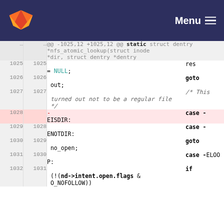GitLab — Menu
Code diff showing lines 1025-1032 of a C source file with changes to nfs_atomic_lookup function
| old | new | code |
| --- | --- | --- |
| ... | ... | @@ -1025,12 +1025,12 @@ static struct dentry *nfs_atomic_lookup(struct inode *dir, struct dentry *dentry |
| 1025 | 1025 |                                         res = NULL; |
| 1026 | 1026 |                                         goto out; |
| 1027 | 1027 |                                         /* This turned out not to be a regular file */ |
| 1028 |  | -                                       case -EISDIR: |
| 1029 | 1028 |                                         case -ENOTDIR: |
| 1030 | 1029 |                                         goto no_open; |
| 1031 | 1030 |                                         case -ELOOP: |
| 1032 | 1031 |                                         if (!(nd->intent.open.flags & O_NOFOLLOW)) |